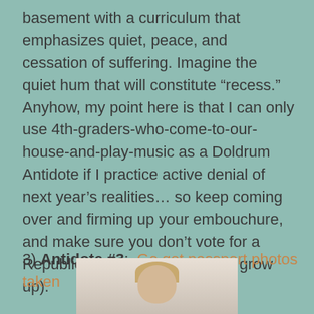basement with a curriculum that emphasizes quiet, peace, and cessation of suffering. Imagine the quiet hum that will constitute “recess.” Anyhow, my point here is that I can only use 4th-graders-who-come-to-our-house-and-play-music as a Doldrum Antidote if I practice active denial of next year’s realities… so keep coming over and firming up your embouchure, and make sure you don’t vote for a Republican governor when you grow up).
3) Antidote #3:  Go get passport photos taken
[Figure (photo): Partial photo of a person with blonde hair, cropped at the bottom of the page]